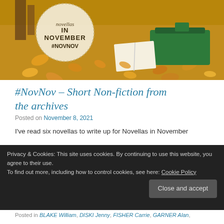[Figure (photo): Autumn scene with open book and green suitcase/bench on a path covered with fallen yellow leaves. A circular badge reads 'IN NOVEMBER #NOVNOV' in the upper left.]
#NovNov – Short Non-fiction from the archives
Posted on November 8, 2021
I've read six novellas to write up for Novellas in November
Privacy & Cookies: This site uses cookies. By continuing to use this website, you agree to their use.
To find out more, including how to control cookies, see here: Cookie Policy
Close and accept
Posted in BLAKE William, DISKI Jenny, FISHER Carrie, GARNER Alan,